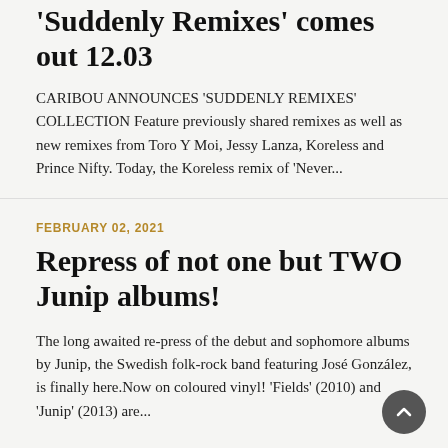'Suddenly Remixes' comes out 12.03
CARIBOU ANNOUNCES 'SUDDENLY REMIXES' COLLECTION Feature previously shared remixes as well as new remixes from Toro Y Moi, Jessy Lanza, Koreless and Prince Nifty. Today, the Koreless remix of 'Never...
FEBRUARY 02, 2021
Repress of not one but TWO Junip albums!
The long awaited re-press of the debut and sophomore albums by Junip, the Swedish folk-rock band featuring José González, is finally here.Now on coloured vinyl! 'Fields' (2010) and 'Junip' (2013) are...